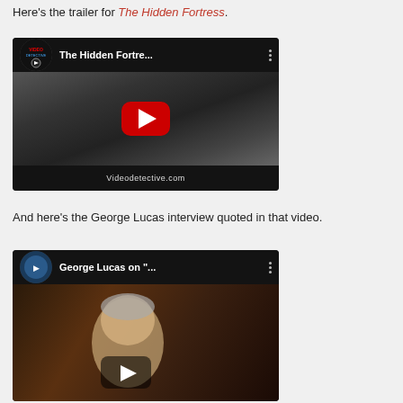Here's the trailer for The Hidden Fortress.
[Figure (screenshot): Embedded YouTube video thumbnail showing 'The Hidden Fortress' trailer with a black-and-white scene and red play button, from Videodetective.com]
And here's the George Lucas interview quoted in that video.
[Figure (screenshot): Embedded YouTube video thumbnail showing George Lucas interview titled 'George Lucas on "..."' with a dark play button overlay]